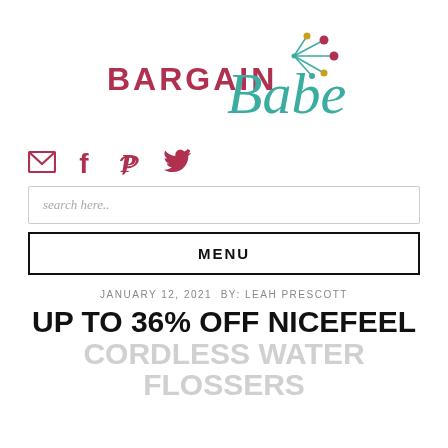[Figure (logo): Bargain Babe logo with 'BARGAIN' in bold red uppercase serif and 'Babe' in teal cursive script with decorative starburst/atom graphic in teal, red, and gold]
[Figure (infographic): Social media icons: envelope (email), Facebook f, Pinterest P, Twitter bird — all in dark crimson/rose color]
search here..
MENU
JANUARY 12, 2021 BY: LEAH PRESCOTT
UP TO 36% OFF NICEFEEL CORDLESS WATER FLOSSERS